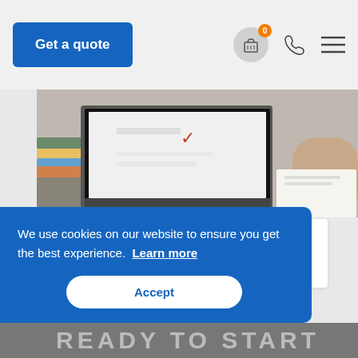Get a quote
[Figure (photo): Laptop on a desk with a checklist visible on screen, notebooks stacked on left, person's hand writing on right]
18 JANUARY 2021
Stage 1 of your Audit
We use cookies on our website to ensure you get the best experience. Learn more
Accept